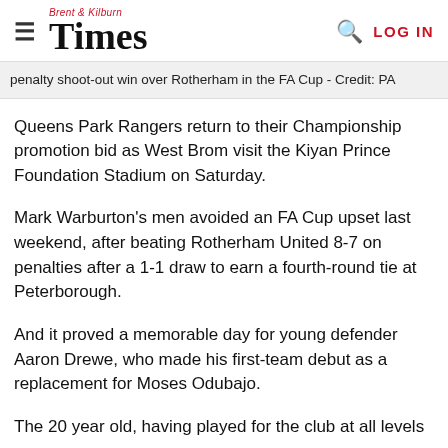Brent & Kilburn Times  LOG IN
penalty shoot-out win over Rotherham in the FA Cup - Credit: PA
Queens Park Rangers return to their Championship promotion bid as West Brom visit the Kiyan Prince Foundation Stadium on Saturday.
Mark Warburton's men avoided an FA Cup upset last weekend, after beating Rotherham United 8-7 on penalties after a 1-1 draw to earn a fourth-round tie at Peterborough.
And it proved a memorable day for young defender Aaron Drewe, who made his first-team debut as a replacement for Moses Odubajo.
The 20 year old, having played for the club at all levels